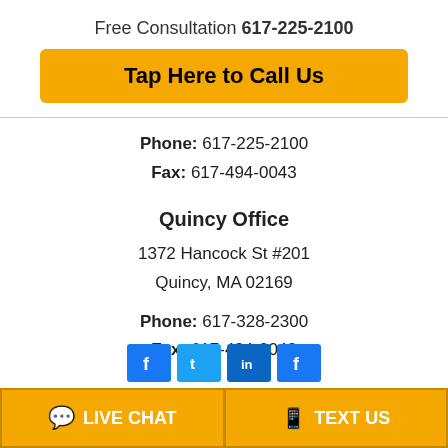Free Consultation 617-225-2100
Tap Here to Call Us
Phone: 617-225-2100
Fax: 617-494-0043
Quincy Office
1372 Hancock St #201
Quincy, MA 02169
Phone: 617-328-2300
Fax: 617-494-0043
[Figure (other): Row of four social media icons (Facebook, Twitter, LinkedIn, Facebook) in blue]
LIVE CHAT
TEXT US